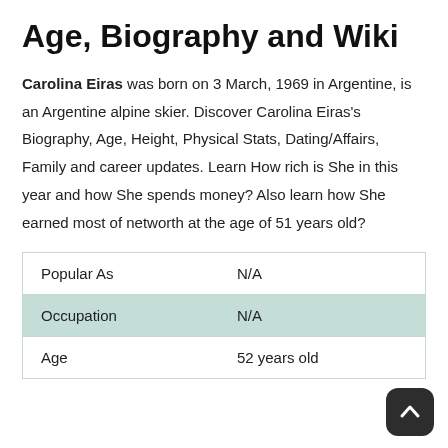Age, Biography and Wiki
Carolina Eiras was born on 3 March, 1969 in Argentine, is an Argentine alpine skier. Discover Carolina Eiras's Biography, Age, Height, Physical Stats, Dating/Affairs, Family and career updates. Learn How rich is She in this year and how She spends money? Also learn how She earned most of networth at the age of 51 years old?
|  |  |
| --- | --- |
| Popular As | N/A |
| Occupation | N/A |
| Age | 52 years old |